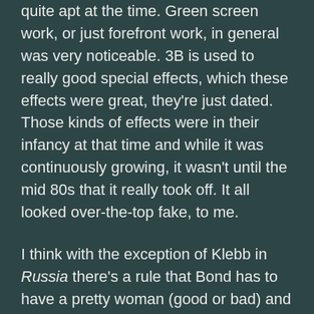quite apt at the time. Green screen work, or just forefront work, in general was very noticeable. 3B is used to really good special effects, which these effects were great, they're just dated.  Those kinds of effects were in their infancy at that time and while it was continuously growing, it wasn't until the mid 80s that it really took off. It all looked over-the-top fake, to me.
I think with the exception of Klebb in Russia there's a rule that Bond has to have a pretty woman (good or bad) and the whole film is full of them. As is always the case when they're using Italian and other foreign actors the have to use voice artists for the screen actors to lose a good bit of their native accents. This